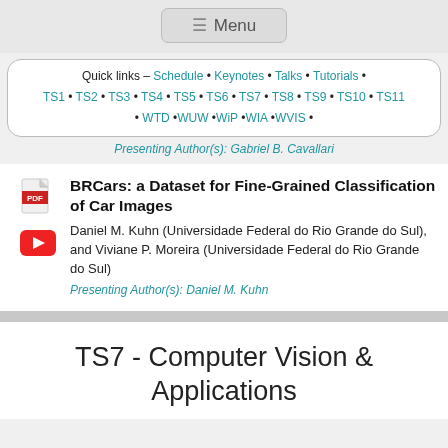≡ Menu
Quick links – Schedule • Keynotes • Talks • Tutorials • TS1 • TS2 • TS3 • TS4 • TS5 • TS6 • TS7 • TS8 • TS9 • TS10 • TS11 • WTD • WUW • WiP • WIA • WVIS •
Presenting Author(s): Gabriel B. Cavallari
BRCars: a Dataset for Fine-Grained Classification of Car Images
Daniel M. Kuhn (Universidade Federal do Rio Grande do Sul), and Viviane P. Moreira (Universidade Federal do Rio Grande do Sul)
Presenting Author(s): Daniel M. Kuhn
TS7 - Computer Vision & Applications